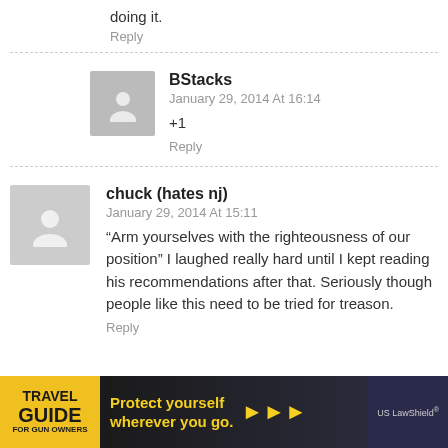doing it.
Reply
BStacks
January 29, 2014 At 16:14
+1
Reply
chuck (hates nj)
January 29, 2014 At 15:11
“Arm yourselves with the righteousness of our position” I laughed really hard until I kept reading his recommendations after that. Seriously though people like this need to be tried for treason.
Reply
[Figure (photo): Advertisement banner: Travel Guide for Gun Owners - Protect yourself wherever you go. US LawShield.]